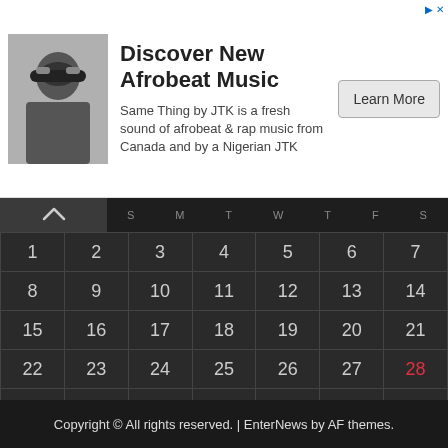[Figure (infographic): Advertisement banner: photo of a person in sunglasses with text 'Discover New Afrobeat Music - Same Thing by JTK is a fresh sound of afrobeat & rap music from Canada and by a Nigerian JTK' and a 'Learn More' button]
|  | Sun | Mon | Tue | Wed | Thu | Fri | Sat |
| --- | --- | --- | --- | --- | --- | --- | --- |
| 1 | 2 | 3 | 4 | 5 | 6 | 7 |
| 8 | 9 | 10 | 11 | 12 | 13 | 14 |
| 15 | 16 | 17 | 18 | 19 | 20 | 21 |
| 22 | 23 | 24 | 25 | 26 | 27 | 28 |
| 29 | 30 | 31 |  |  |  |  |
« Jan
Copyright © All rights reserved. | EnterNews by AF themes.